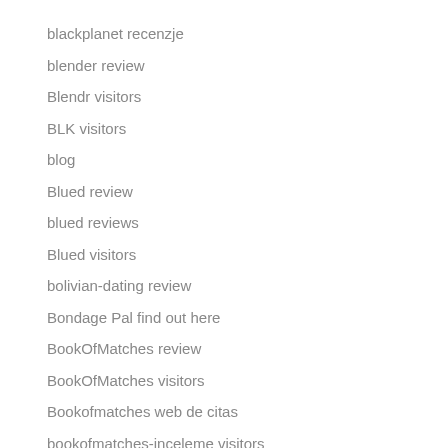blackplanet recenzje
blender review
Blendr visitors
BLK visitors
blog
Blued review
blued reviews
Blued visitors
bolivian-dating review
Bondage Pal find out here
BookOfMatches review
BookOfMatches visitors
Bookofmatches web de citas
bookofmatches-inceleme visitors